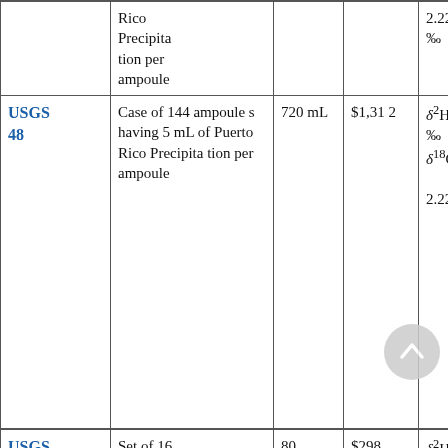|  | Description | Volume | Price | Values |
| --- | --- | --- | --- | --- |
|  | Rico Precipitation per ampoule |  |  | 2.224 ‰ |
| USGS 48 | Case of 144 ampoules having 5 mL of Puerto Rico Precipitation per ampoule | 720 mL | $1,312 | δ²H = —2.0 ‰ δ¹⁸O = —2.224 ‰ |
| USGS | Set of 16 | 80 | $298 | δ²H = |